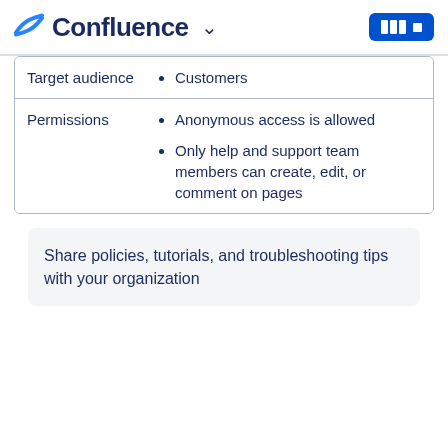Confluence
| Field | Value |
| --- | --- |
| Target audience | Customers |
| Permissions | Anonymous access is allowed
Only help and support team members can create, edit, or comment on pages |
Share policies, tutorials, and troubleshooting tips with your organization